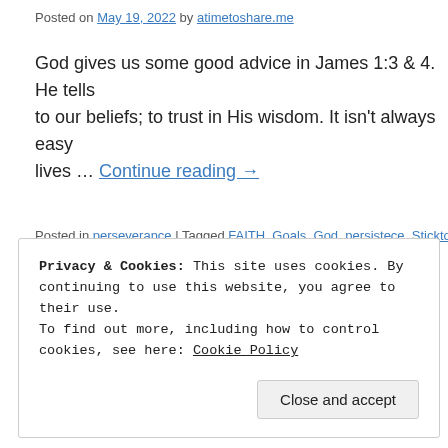Posted on May 19, 2022 by atimetoshare.me
God gives us some good advice in James 1:3 & 4. He tells to our beliefs; to trust in His wisdom. It isn't always easy lives … Continue reading →
Posted in perseverance | Tagged FAITH, Goals, God, persistece, Sticktoitiv
Privacy & Cookies: This site uses cookies. By continuing to use this website, you agree to their use.
To find out more, including how to control cookies, see here: Cookie Policy
Close and accept